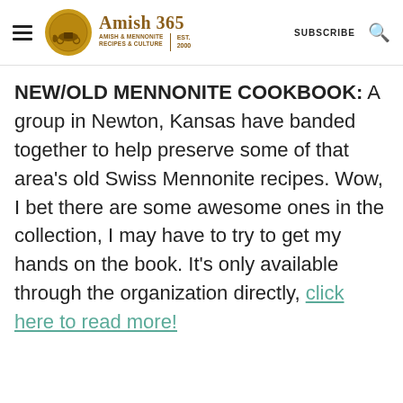Amish 365 | AMISH & MENNONITE RECIPES & CULTURE | EST. 2000 | SUBSCRIBE
NEW/OLD MENNONITE COOKBOOK: A group in Newton, Kansas have banded together to help preserve some of that area's old Swiss Mennonite recipes. Wow, I bet there are some awesome ones in the collection, I may have to try to get my hands on the book. It's only available through the organization directly, click here to read more!